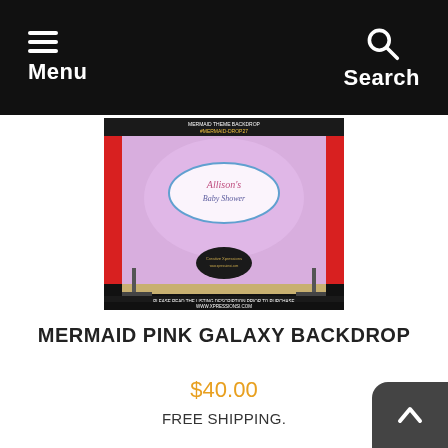Menu   Search
[Figure (photo): Product photo of a Mermaid Pink Galaxy Backdrop banner display stand with a pink underwater mermaid theme, showing 'Allison's Baby Shower' text. Labels include 'MERMAID THEME BACKDROP #MERMAID-DROP27' at top and 'PLEASE READ THE LISTING DESCRIPTION PRIOR TO PURCHASE / WWW.XPRESSIONSI.COM' at bottom.]
MERMAID PINK GALAXY BACKDROP
$40.00
FREE SHIPPING.